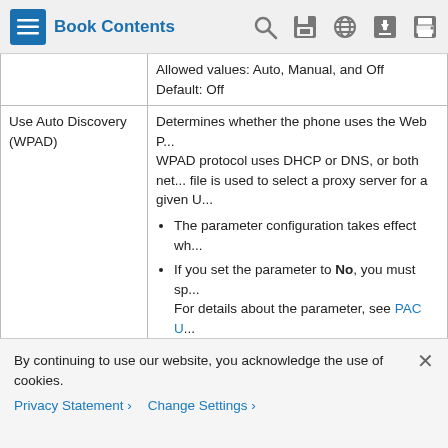Book Contents
| Parameter | Description |
| --- | --- |
|  | Allowed values: Auto, Manual, and Off
Default: Off |
| Use Auto Discovery (WPAD) | Determines whether the phone uses the Web P... WPAD protocol uses DHCP or DNS, or both net... file is used to select a proxy server for a given U...
• The parameter configuration takes effect wh...
• If you set the parameter to No, you must sp... For details about the parameter, see PAC U...
Perform one of the following:
• In the phone configuration file with XML(cfg... <Use_Auto_Discovery__WPAD_ ua=... |
By continuing to use our website, you acknowledge the use of cookies.
Privacy Statement > Change Settings >